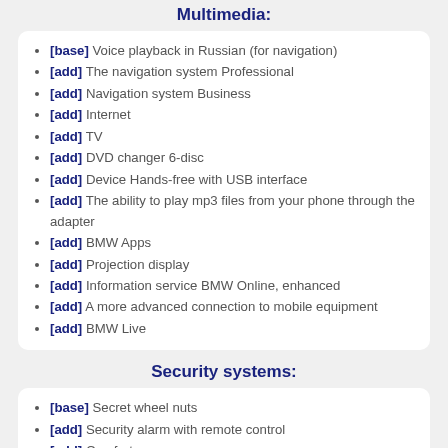Multimedia:
[base] Voice playback in Russian (for navigation)
[add] The navigation system Professional
[add] Navigation system Business
[add] Internet
[add] TV
[add] DVD changer 6-disc
[add] Device Hands-free with USB interface
[add] The ability to play mp3 files from your phone through the adapter
[add] BMW Apps
[add] Projection display
[add] Information service BMW Online, enhanced
[add] A more advanced connection to mobile equipment
[add] BMW Live
Security systems:
[base] Secret wheel nuts
[add] Security alarm with remote control
[add] Comfort access
Passive safety: